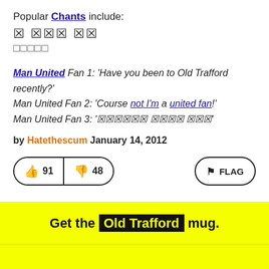Popular Chants include:
🅱 🅱🅱🅱 🅱🅱
□□□□□
Man United Fan 1: 'Have you been to Old Trafford recently?'
Man United Fan 2: 'Course not I'm a united fan!'
Man United Fan 3: '🅱🅱🅱🅱🅱🅱 🅱🅱🅱🅱 🅱🅱🅱'
by Hatethescum January 14, 2012
👍 91  👎 48  FLAG
Get the Old Trafford mug.